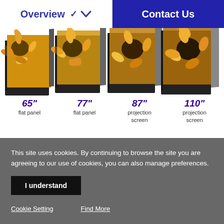Overview  Contact Us
[Figure (photo): Four flat panel and projection screens shown at an angle, displaying a sunflower image, in sizes 65", 77", 87", and 110"]
65" flat panel
77" flat panel
87" projection screen
110" projection screen
This site uses cookies. By continuing to browse the site you are agreeing to our use of cookies, you can also manage preferences.
I understand
Cookie Setting    Find More